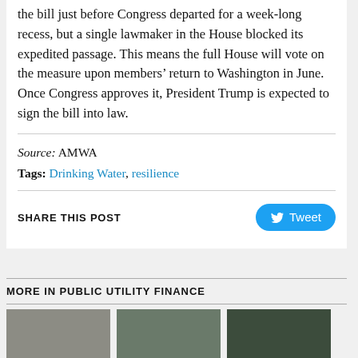the bill just before Congress departed for a week-long recess, but a single lawmaker in the House blocked its expedited passage. This means the full House will vote on the measure upon members’ return to Washington in June. Once Congress approves it, President Trump is expected to sign the bill into law.
Source: AMWA
Tags: Drinking Water, resilience
SHARE THIS POST
[Figure (other): Tweet button (Twitter share button with bird icon)]
MORE IN PUBLIC UTILITY FINANCE
[Figure (photo): Three thumbnail images side by side below the MORE IN PUBLIC UTILITY FINANCE section header]